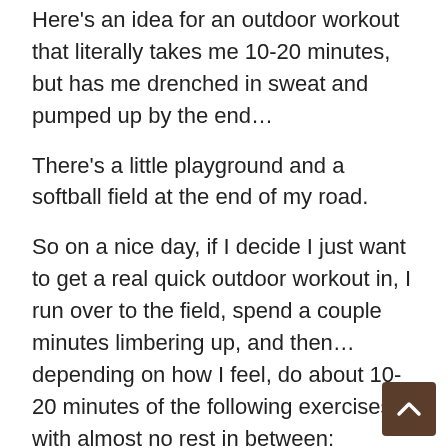Here's an idea for an outdoor workout that literally takes me 10-20 minutes, but has me drenched in sweat and pumped up by the end…
There's a little playground and a softball field at the end of my road.
So on a nice day, if I decide I just want to get a real quick outdoor workout in, I run over to the field, spend a couple minutes limbering up, and then… depending on how I feel, do about 10-20 minutes of the following exercises with almost no rest in between:
50, 75, or 100-yard wind sprints
hill sprints (if you have a hill nearby)